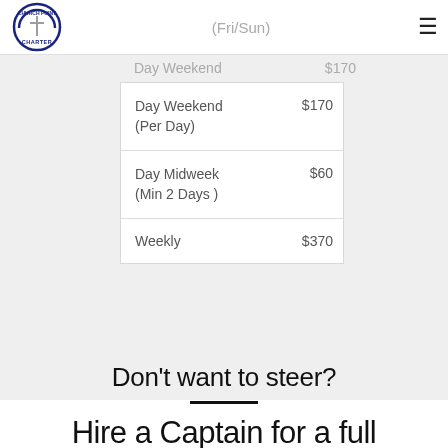(Fri/Sun)
| Type | Price |
| --- | --- |
| Day Weekend (Per Day) | $170 |
| Day Midweek (Min 2 Days ) | $60 |
| Weekly | $370 |
Don't want to steer?
Hire a Captain for a full